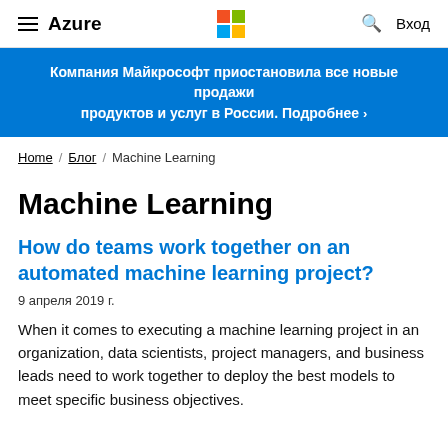Azure | Microsoft Logo | Вход
Компания Майкрософт приостановила все новые продажи продуктов и услуг в России. Подробнее
Home / Блог / Machine Learning
Machine Learning
How do teams work together on an automated machine learning project?
9 апреля 2019 г.
When it comes to executing a machine learning project in an organization, data scientists, project managers, and business leads need to work together to deploy the best models to meet specific business objectives.